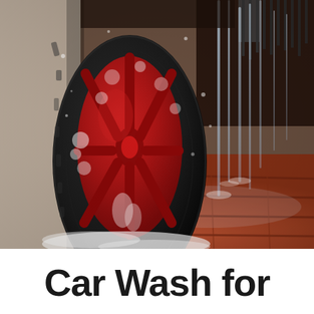[Figure (photo): Close-up photo of a car wheel with red alloy rim being washed at a car wash. The tire is covered in white soap foam. Water streams down from above (a brush visible at top right). The floor is terracotta/red brick tiles wet with soapy water. The car body is light silver/grey on the left.]
Car Wash for